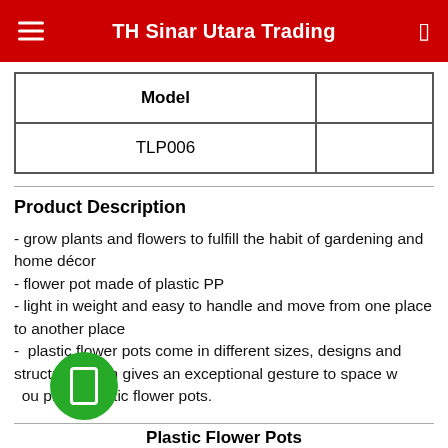TH Sinar Utara Trading
| Model |  |
| --- | --- |
| TLP006 |  |
Product Description
- grow plants and flowers to fulfill the habit of gardening and home décor
- flower pot made of plastic PP
- light in weight and easy to handle and move from one place to another place
-  plastic flower pots come in different sizes, designs and structure which gives an exceptional gesture to space where you place plastic flower pots.
Plastic Flower Pots